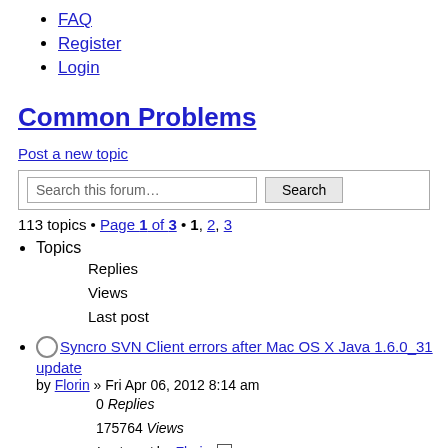FAQ
Register
Login
Common Problems
Post a new topic
113 topics • Page 1 of 3 • 1, 2, 3
Topics
Replies
Views
Last post
Syncro SVN Client errors after Mac OS X Java 1.6.0_31 update
by Florin » Fri Apr 06, 2012 8:14 am
0 Replies
175764 Views
Last post by Florin
Fri Apr 06, 2012 8:14 am